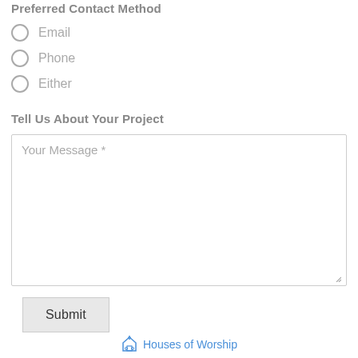Preferred Contact Method
Email
Phone
Either
Tell Us About Your Project
Your Message *
Submit
Houses of Worship